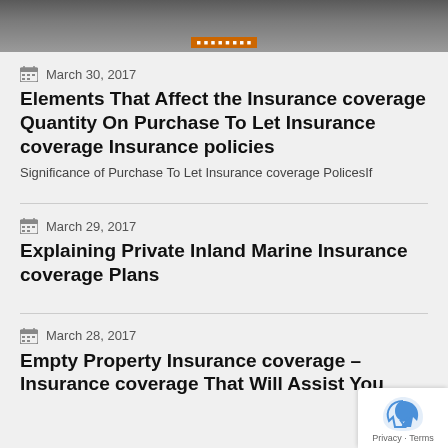[Figure (photo): Top portion of a photo showing a house/property with blurred background]
March 30, 2017
Elements That Affect the Insurance coverage Quantity On Purchase To Let Insurance coverage Insurance policies
Significance of Purchase To Let Insurance coverage PolicesIf
March 29, 2017
Explaining Private Inland Marine Insurance coverage Plans
March 28, 2017
Empty Property Insurance coverage – Insurance coverage That Will Assist You